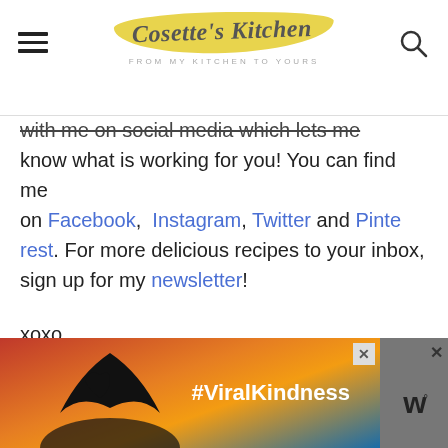Cosette's Kitchen — FROM MY KITCHEN TO YOURS
with me on social media which lets me know what is working for you! You can find me on Facebook, Instagram, Twitter and Pinterest. For more delicious recipes to your inbox, sign up for my newsletter!
xoxo,
Cosette
[Figure (photo): Advertisement banner with heart-hands silhouette and text #ViralKindness on a sunset background]